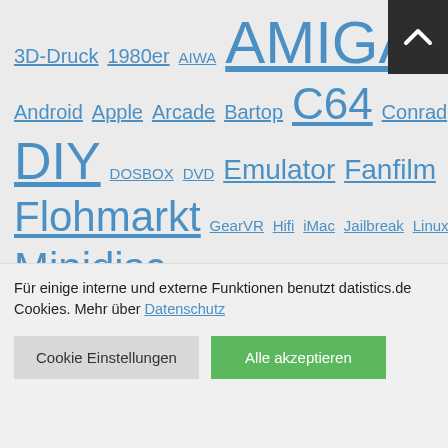3D-Druck 1980er AIWA AMIGA Android Apple Arcade Bartop C64 Conrad DIY DOSBOX DVD Emulator Fanfilm Flohmarkt GearVR Hifi iMac Jailbreak Linux Minidisc MOD Monsieur Cuisine Connect PC Philips Protracker PS4 Raspberry Pi RC Reely Reparatur Retro Samsung SID SM SONY Stage9 Star Trek Star W... Turrican
Für einige interne und externe Funktionen benutzt datistics.de Cookies. Mehr über Datenschutz